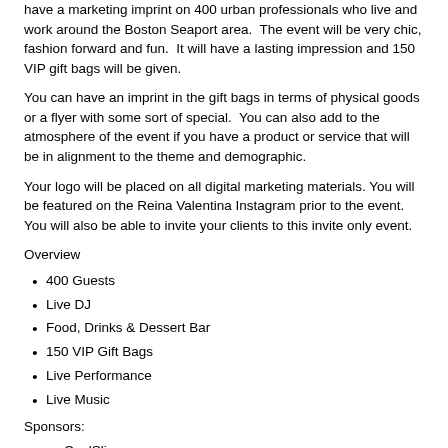have a marketing imprint on 400 urban professionals who live and work around the Boston Seaport area. The event will be very chic, fashion forward and fun. It will have a lasting impression and 150 VIP gift bags will be given.
You can have an imprint in the gift bags in terms of physical goods or a flyer with some sort of special. You can also add to the atmosphere of the event if you have a product or service that will be in alignment to the theme and demographic.
Your logo will be placed on all digital marketing materials. You will be featured on the Reina Valentina Instagram prior to the event. You will also be able to invite your clients to this invite only event.
Overview
400 Guests
Live DJ
Food, Drinks & Dessert Bar
150 VIP Gift Bags
Live Performance
Live Music
Sponsors:
myCoolSlim